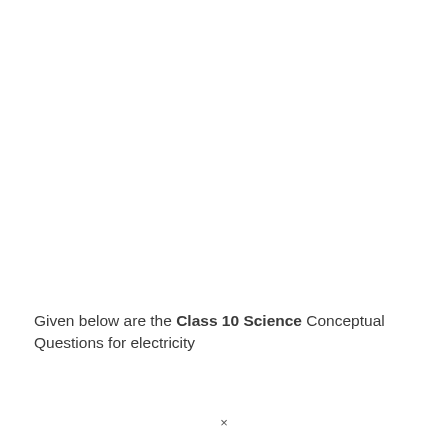Given below are the Class 10 Science Conceptual Questions for electricity
×